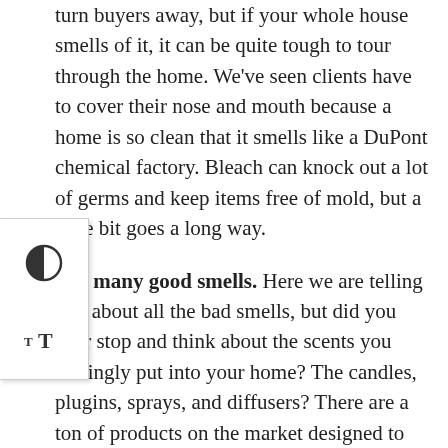turn buyers away, but if your whole house smells of it, it can be quite tough to tour through the home. We've seen clients have to cover their nose and mouth because a home is so clean that it smells like a DuPont chemical factory. Bleach can knock out a lot of germs and keep items free of mold, but a little bit goes a long way.
Too many good smells. Here we are telling you about all the bad smells, but did you ever stop and think about the scents you willingly put into your home? The candles, plugins, sprays, and diffusers? There are a ton of products on the market designed to make your home smell beautiful, but be careful of overkill. Stick with one or two methods and try to stick with clean, simple scents. Watch out for competing scents as well – strong floral scents combined with cinnamon combined with ocean breezes combined with chocolate chip cookies combined with citrus – our noses hurt just thinking about it. Try to keep your scents in